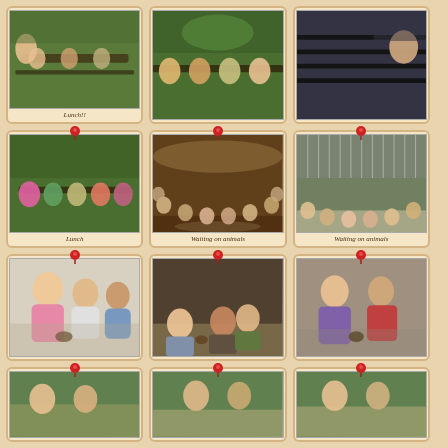[Figure (photo): Children sitting at outdoor picnic table eating lunch]
Lunch!!
[Figure (photo): Children sitting at outdoor picnic table eating lunch]
[Figure (photo): Children at long dark outdoor table]
[Figure (photo): Children sitting at outdoor picnic tables eating lunch]
Lunch
[Figure (photo): Children sitting in circle inside barn waiting on animals]
Waiting on animals
[Figure (photo): Children sitting in circle inside arena waiting on animals]
Waiting on animals
[Figure (photo): Two smiling girls in pink jackets holding small animals]
[Figure (photo): Children sitting holding small animals]
[Figure (photo): Two children in purple and red jackets holding small animals]
[Figure (photo): Children at farm, partially visible row 4]
[Figure (photo): Children at farm, partially visible row 4]
[Figure (photo): Children at farm, partially visible row 4]